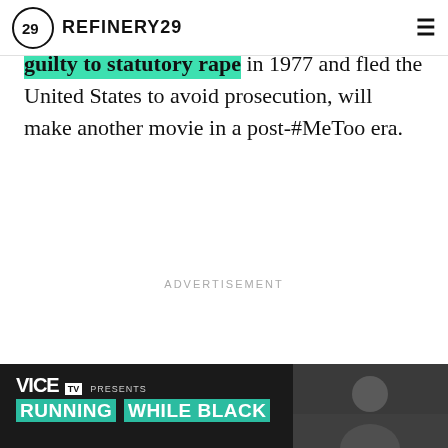REFINERY29
guilty to statutory rape in 1977 and fled the United States to avoid prosecution, will make another movie in a post-#MeToo era.
ADVERTISEMENT
[Figure (screenshot): VICE TV Presents: Running While Black advertisement banner at bottom of page]